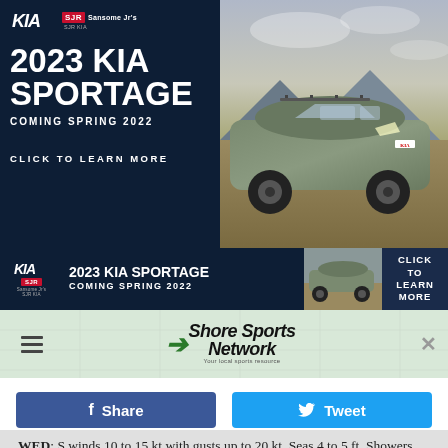[Figure (photo): Kia / Sansome Jr's Kia advertisement banner for 2023 Kia Sportage, Coming Spring 2022, with photo of green SUV on rocky terrain. Click to Learn More CTA.]
[Figure (photo): Secondary Kia banner: 2023 Kia Sportage Coming Spring 2022, with thumbnail car image and Click to Learn More button.]
[Figure (logo): Shore Sports Network logo with green map background, hamburger menu, and X close button.]
[Figure (screenshot): Facebook Share button and Twitter Tweet button.]
WED: S winds 10 to 15 kt with gusts up to 20 kt. Seas 4 to 5 ft. Showers likely. A chance of tstms in the afternoon.